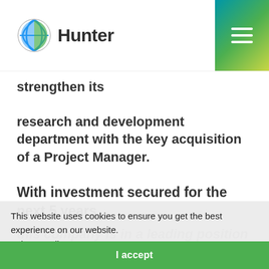Hunter
strengthen its
research and development department with the key acquisition of a Project Manager.
With investment secured for the next 5 years,
this company is in a leading position to capitalise on the market growth. The business has a healthy order book and exciting development plans making it an excellent time to join the company.
This website uses cookies to ensure you get the best experience on our website. Privacy Policy
I accept